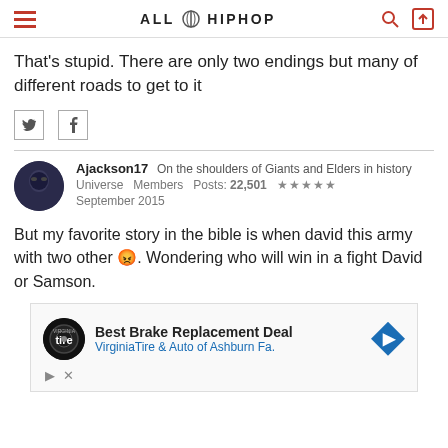AllHipHop
That's stupid. There are only two endings but many of different roads to get to it
Ajackson17  On the shoulders of Giants and Elders in history
Universe  Members  Posts: 22,501  ★★★★★
September 2015
But my favorite story in the bible is when david this army with two other 😡. Wondering who will win in a fight David or Samson.
[Figure (screenshot): Advertisement: Best Brake Replacement Deal — VirginiaTire & Auto of Ashburn Fa. with tire logo and blue diamond arrow icon]